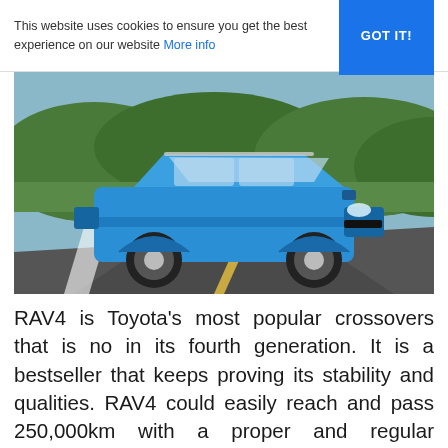This website uses cookies to ensure you get the best experience on our website More info GOT IT!
[Figure (photo): Blue Toyota RAV4 SUV driving on a road with green shrubs and trees in the background]
RAV4 is Toyota’s most popular crossovers that is no in its fourth generation. It is a bestseller that keeps proving its stability and qualities. RAV4 could easily reach and pass 250,000km with a proper and regular maintenance and no extra rush. There are petrol and diesel variation